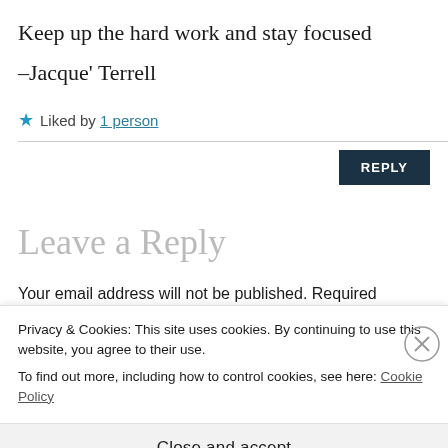Keep up the hard work and stay focused
–Jacque' Terrell
★ Liked by 1 person
REPLY
Leave a Reply
Your email address will not be published. Required
f
Privacy & Cookies: This site uses cookies. By continuing to use this website, you agree to their use.
To find out more, including how to control cookies, see here: Cookie Policy
Close and accept